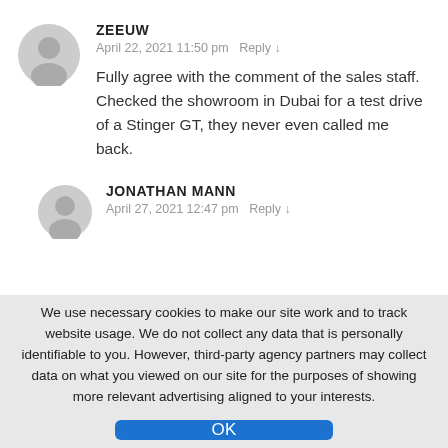ZEEUW
April 22, 2021 11:50 pm   Reply ↓
Fully agree with the comment of the sales staff. Checked the showroom in Dubai for a test drive of a Stinger GT, they never even called me back.
JONATHAN MANN
April 27, 2021 12:47 pm   Reply ↓
We use necessary cookies to make our site work and to track website usage. We do not collect any data that is personally identifiable to you. However, third-party agency partners may collect data on what you viewed on our site for the purposes of showing more relevant advertising aligned to your interests.
OK